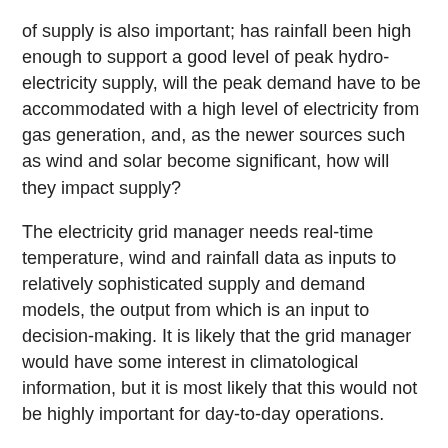of supply is also important; has rainfall been high enough to support a good level of peak hydro-electricity supply, will the peak demand have to be accommodated with a high level of electricity from gas generation, and, as the newer sources such as wind and solar become significant, how will they impact supply?
The electricity grid manager needs real-time temperature, wind and rainfall data as inputs to relatively sophisticated supply and demand models, the output from which is an input to decision-making. It is likely that the grid manager would have some interest in climatological information, but it is most likely that this would not be highly important for day-to-day operations.
Policymakers
Policymakers have two timescales of interest. They are keenly interested in extreme weather events that impact